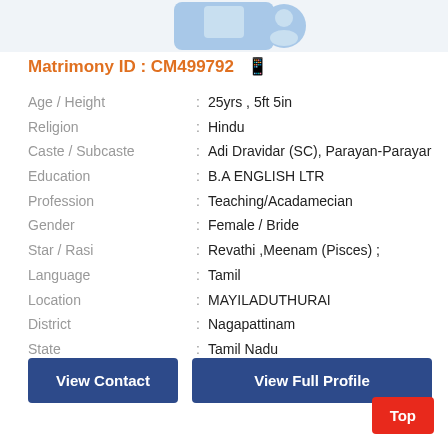[Figure (illustration): Partial profile photo placeholder graphic with light blue background, cropped at top of page]
Matrimony ID : CM499792
| Field | : | Value |
| --- | --- | --- |
| Age / Height | : | 25yrs , 5ft 5in |
| Religion | : | Hindu |
| Caste / Subcaste | : | Adi Dravidar (SC), Parayan-Parayar |
| Education | : | B.A ENGLISH LTR |
| Profession | : | Teaching/Acadamecian |
| Gender | : | Female / Bride |
| Star / Rasi | : | Revathi ,Meenam (Pisces) ; |
| Language | : | Tamil |
| Location | : | MAYILADUTHURAI |
| District | : | Nagapattinam |
| State | : | Tamil Nadu |
| Country | : | India |
View Contact
View Full Profile
Top